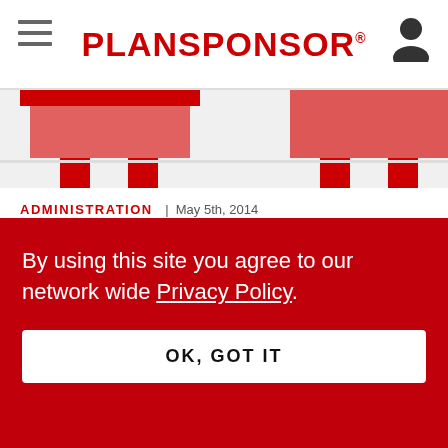PLANSPONSOR
[Figure (illustration): Partial red and white illustrated graphic showing two table-like shapes on a light background, cropped at top]
ADMINISTRATION | May 5th, 2014
Large Plans Fare Better During Q1
[Figure (illustration): Partial red illustration showing a smiley face, star, and partial circular shapes on a white/red tiled background]
By using this site you agree to our network wide Privacy Policy.
OK, GOT IT